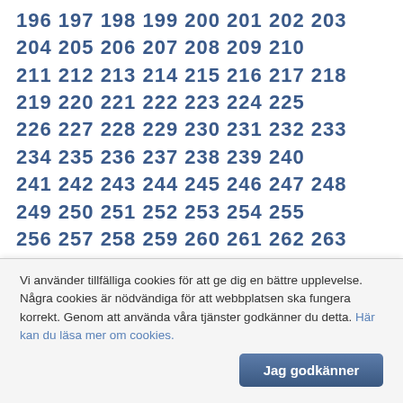196 197 198 199 200 201 202 203 204 205 206 207 208 209 210 211 212 213 214 215 216 217 218 219 220 221 222 223 224 225 226 227 228 229 230 231 232 233 234 235 236 237 238 239 240 241 242 243 244 245 246 247 248 249 250 251 252 253 254 255 256 257 258 259 260 261 262 263 264 265 266 267 268 269 270 271 272 273 274 275 276 277 278 279 280 281 282 283 284 285 286 287 288 289 290 291 292 293 294 295 296 297 298 299 300 301 302 303 304 305 306 307 308 309 310 311 312 313 314 315 316 317 318 319 320 321 322 323 324 325 326 327 328 329 330 331 332 333 334 335 336 337 338 339 340 341 342 343 344 345 346 347 348 349 350 351 352 353 354 355 356 357 358 359 360 361 362 363 364 365 366 367 368 369 370 371 372 373 374 375 376 377 378 379 380 381 382 383 384 385 386 387 388 389 390 391 392 393 394 395 396 397 398 399 400 401 402 403 404 405 406 407 408 409 410 411 412 413 414 415 416 417 418 419 420 421 422 423 424 425 426 427 428 429 430 431 432 433 434 435
Vi använder tillfälliga cookies för att ge dig en bättre upplevelse. Några cookies är nödvändiga för att webbplatsen ska fungera korrekt. Genom att använda våra tjänster godkänner du detta. Här kan du läsa mer om cookies.